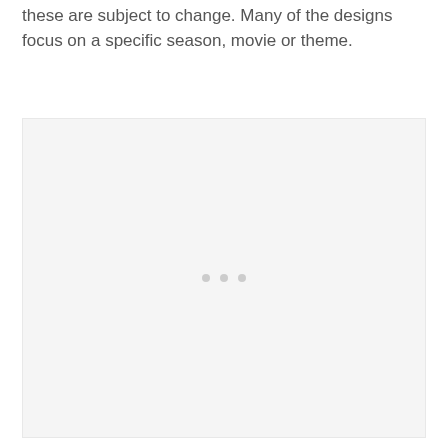these are subject to change. Many of the designs focus on a specific season, movie or theme.
[Figure (photo): Large light gray placeholder image area with three small gray dots centered in the middle.]